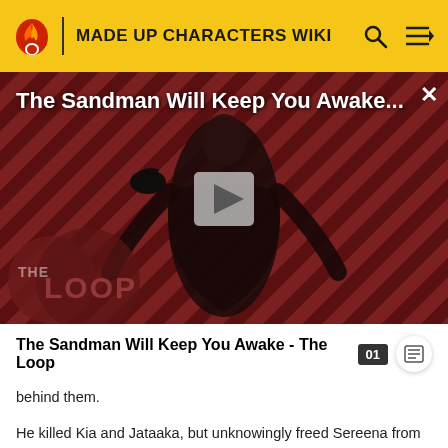MADE UP CHARACTERS WIKI
[Figure (screenshot): Video thumbnail for 'The Sandman Will Keep You Awake...' featuring a dark-cloaked figure with a raven, against a dark red diagonal striped background. Shows a play button in the center and 'THE LOOP' logo in the lower left. A close (X) button is in the upper right.]
The Sandman Will Keep You Awake - The Loop
behind them.
He killed Kia and Jataaka, but unknowingly freed Sereena from Quan's control. Steven continued to make his way...